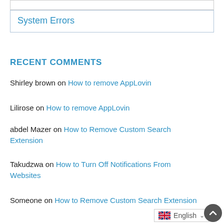System Errors
RECENT COMMENTS
Shirley brown on How to remove AppLovin
Lilirose on How to remove AppLovin
abdel Mazer on How to Remove Custom Search Extension
Takudzwa on How to Turn Off Notifications From Websites
Someone on How to Remove Custom Search Extension